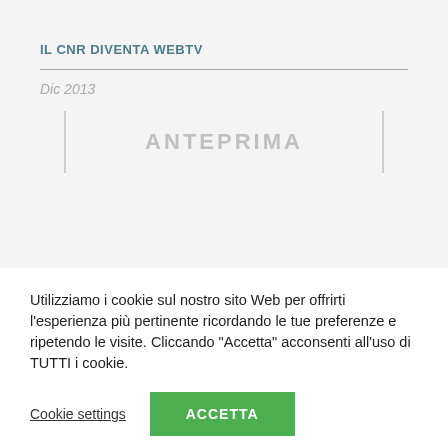IL CNR DIVENTA WEBTV
Dic 2013
[Figure (other): Preview placeholder box with the text ANTEPRIMA displayed in light gray, bordered by vertical lines on left and right]
Utilizziamo i cookie sul nostro sito Web per offrirti l'esperienza più pertinente ricordando le tue preferenze e ripetendo le visite. Cliccando “Accetta” acconsenti all'uso di TUTTI i cookie.
Cookie settings
ACCETTA